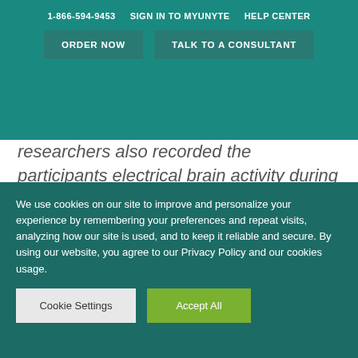1-866-594-9453  SIGN IN TO MYUNYTE  HELP CENTER
ORDER NOW  TALK TO A CONSULTANT
researchers also recorded the participants electrical brain activity during their full night of sleep.
The participants exhibited significant differences in their response to facial expressions when they were sleep deprived
We use cookies on our site to improve and personalize your experience by remembering your preferences and repeat visits, analyzing how our site is used, and to keep it reliable and secure. By using our website, you agree to our Privacy Policy and our cookies usage.
Cookie Settings  Accept All